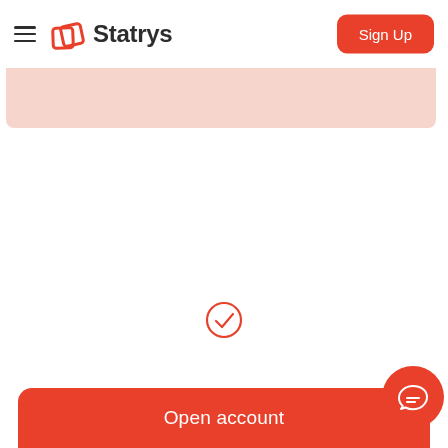Statrys — Sign Up
[Figure (screenshot): Statrys website navigation bar with hamburger menu, Statrys logo (red overlapping squares icon with bold text), and a red Sign Up button on the right]
[Figure (other): Light pink/salmon colored banner strip below the navigation bar]
[Figure (other): Red circle with a checkmark (tick) icon in the center of the page]
[Figure (other): Red rounded button at bottom labeled Open account, with a red circular chat/message bubble icon on the far right]